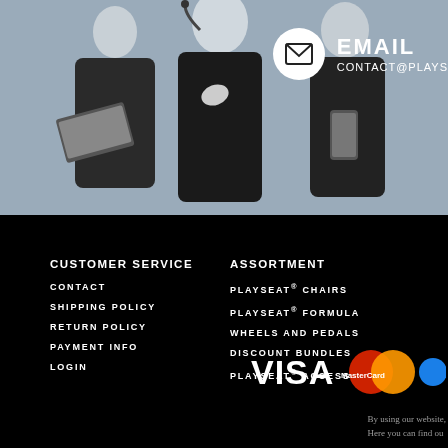[Figure (photo): Three customer service representatives in dark clothing — one with a headset, one with a laptop, one with a tablet/phone — posed against a light grey background.]
EMAIL
CONTACT@PLAYS
CUSTOMER SERVICE
CONTACT
SHIPPING POLICY
RETURN POLICY
PAYMENT INFO
LOGIN
ASSORTMENT
PLAYSEAT® CHAIRS
PLAYSEAT® FORMULA
WHEELS AND PEDALS
DISCOUNT BUNDLES
PLAYSEAT® ACCESSORIES
[Figure (logo): VISA logo, MasterCard logo, and a partially visible third payment logo]
By using our website,
Here you can find ou